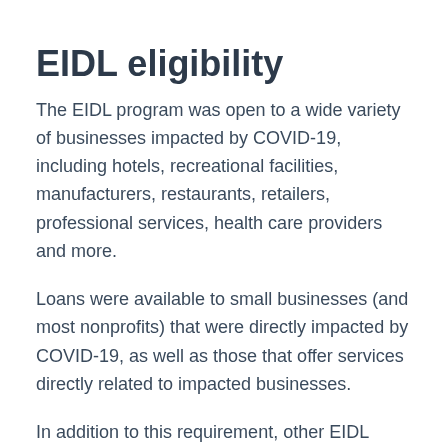EIDL eligibility
The EIDL program was open to a wide variety of businesses impacted by COVID-19, including hotels, recreational facilities, manufacturers, restaurants, retailers, professional services, health care providers and more.
Loans were available to small businesses (and most nonprofits) that were directly impacted by COVID-19, as well as those that offer services directly related to impacted businesses.
In addition to this requirement, other EIDL eligibility requirements that a business needed to meet to qualify include: